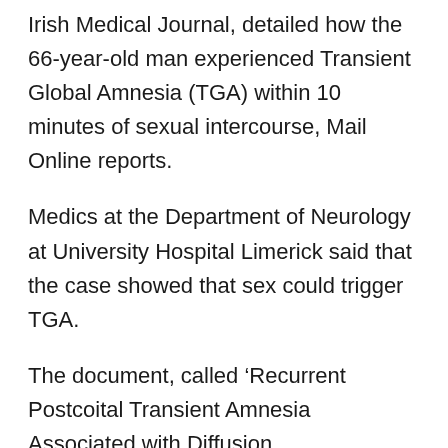Irish Medical Journal, detailed how the 66-year-old man experienced Transient Global Amnesia (TGA) within 10 minutes of sexual intercourse, Mail Online reports.
Medics at the Department of Neurology at University Hospital Limerick said that the case showed that sex could trigger TGA.
The document, called ‘Recurrent Postcoital Transient Amnesia Associated with Diffusion